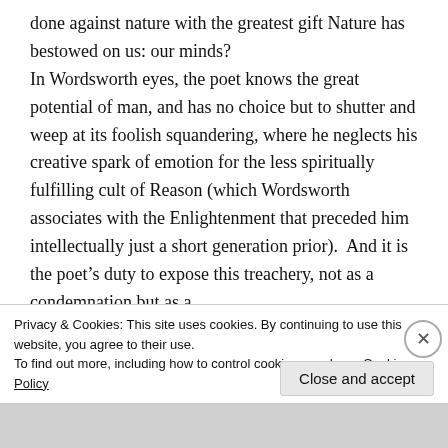done against nature with the greatest gift Nature has bestowed on us: our minds? In Wordsworth eyes, the poet knows the great potential of man, and has no choice but to shutter and weep at its foolish squandering, where he neglects his creative spark of emotion for the less spiritually fulfilling cult of Reason (which Wordsworth associates with the Enlightenment that preceded him intellectually just a short generation prior).  And it is the poet’s duty to expose this treachery, not as a condemnation but as a defence of human nature...
Privacy & Cookies: This site uses cookies. By continuing to use this website, you agree to their use.
To find out more, including how to control cookies, see here: Cookie Policy
Close and accept